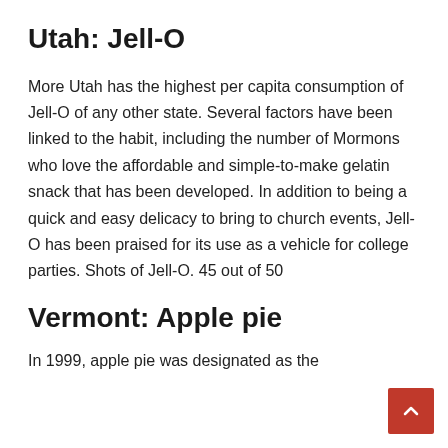Utah: Jell-O
More Utah has the highest per capita consumption of Jell-O of any other state. Several factors have been linked to the habit, including the number of Mormons who love the affordable and simple-to-make gelatin snack that has been developed. In addition to being a quick and easy delicacy to bring to church events, Jell-O has been praised for its use as a vehicle for college parties. Shots of Jell-O. 45 out of 50
Vermont: Apple pie
In 1999, apple pie was designated as the